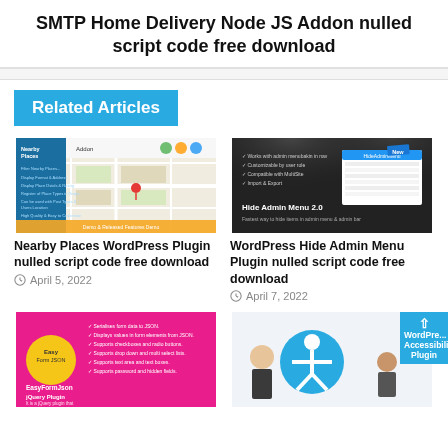SMTP Home Delivery Node JS Addon nulled script code free download
Related Articles
[Figure (screenshot): Nearby Places WordPress Plugin thumbnail screenshot]
Nearby Places WordPress Plugin nulled script code free download
April 5, 2022
[Figure (screenshot): WordPress Hide Admin Menu Plugin thumbnail screenshot showing Hide Admin Menu 2.0]
WordPress Hide Admin Menu Plugin nulled script code free download
April 7, 2022
[Figure (screenshot): EasyFormJson jQuery Plugin thumbnail screenshot - pink background]
[Figure (screenshot): WordPress Accessibility Plugin thumbnail screenshot]